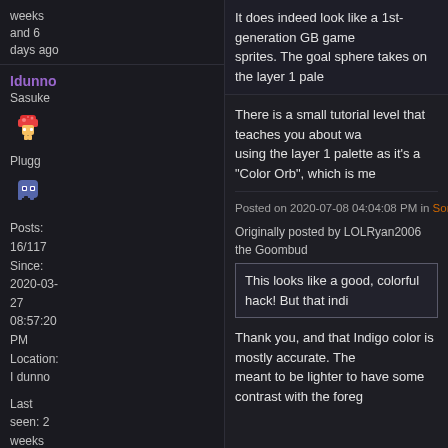weeks and 6 days ago
It does indeed look like a 1st-generation GB game sprites. The goal sphere takes on the layer 1 pale
There is a small tutorial level that teaches you about wa using the layer 1 palette as it's a "Color Orb", which is me
Posted on 2020-07-08 04:04:08 PM in Some SMW hack I'm working on (Glow...
Idunno
Sasuke
[Figure (illustration): Pixel art avatar - small red/orange character sprite]
Plugg
[Figure (illustration): Pixel art avatar - blue ghost-like character sprite]
Posts: 16/117
Since: 2020-03-27 08:57:20 PM
Location: I dunno
Last seen: 2 weeks and 6
Originally posted by LOLRyan2006 the Goombud
This looks like a good, colorful hack! But that indi
Thank you, and that Indigo color is mostly accurate. The meant to be lighter to have some contrast with the foreg